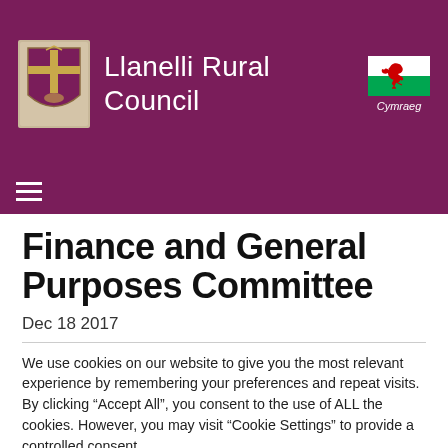Llanelli Rural Council
Finance and General Purposes Committee
Dec 18 2017
We use cookies on our website to give you the most relevant experience by remembering your preferences and repeat visits. By clicking “Accept All”, you consent to the use of ALL the cookies. However, you may visit "Cookie Settings" to provide a controlled consent.
Cookie Settings | Accept All